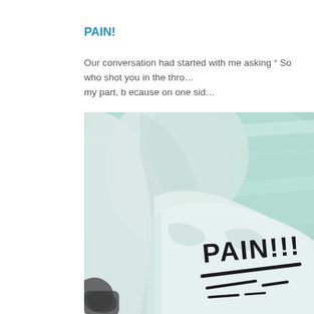PAIN!
Our conversation had started with me asking " So who shot you in the throat? " An innocent enough question on my part, b ecause on one sid...
[Figure (photo): Close-up photo of what appears to be a bandaged or wrapped neck/throat area with the word PAIN!!! written in black marker, against a green-tinted background]